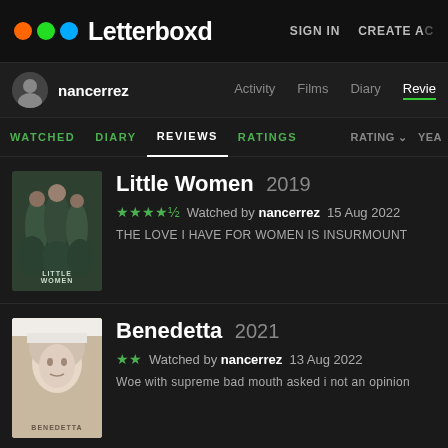Letterboxd   SIGN IN   CREATE ACCOUNT
nancerrez   Activity   Films   Diary   Reviews
WATCHED   DIARY   REVIEWS   RATINGS   RATING   YEAR
Little Women 2019
★★★★½   Watched by nancerrez   15 Aug 2022
THE LOVE I HAVE FOR WOMEN IS INSURMOUNT
Benedetta 2021
★★   Watched by nancerrez   13 Aug 2022